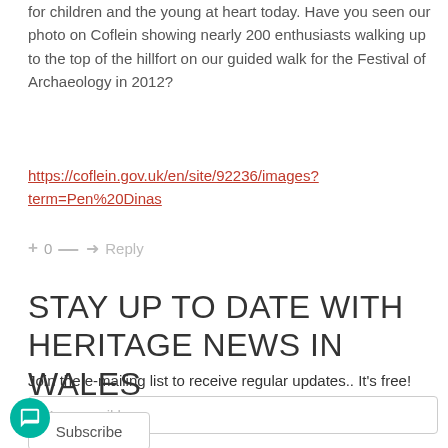for children and the young at heart today. Have you seen our photo on Coflein showing nearly 200 enthusiasts walking up to the top of the hillfort on our guided walk for the Festival of Archaeology in 2012?
https://coflein.gov.uk/en/site/92236/images?term=Pen%20Dinas
+ 0 — Reply
STAY UP TO DATE WITH HERITAGE NEWS IN WALES
Join the e-mailing list to receive regular updates.. It's free!
Your email here
Subscribe